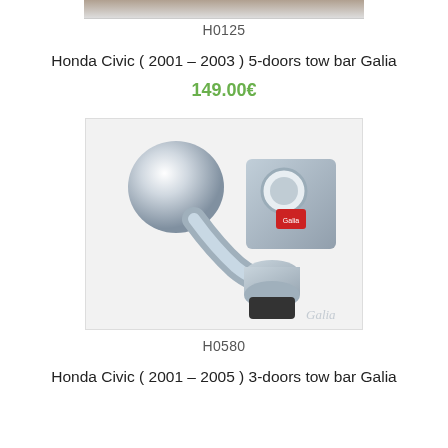[Figure (photo): Partial top of a tow bar product image, cropped at top]
H0125
Honda Civic ( 2001 - 2003 ) 5-doors tow bar Galia
149.00€
[Figure (photo): Photo of a Galia brand tow bar showing a chrome ball mount, bracket, and rubber bumper stop, with Galia watermark logo]
H0580
Honda Civic ( 2001 - 2005 ) 3-doors tow bar Galia